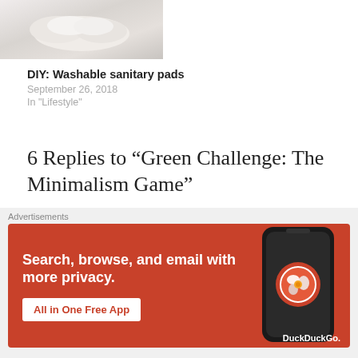[Figure (photo): Partial image of white washable sanitary pads on a white fabric background, cropped at top of page]
DIY: Washable sanitary pads
September 26, 2018
In "Lifestyle"
6 Replies to “Green Challenge: The Minimalism Game”
[Figure (photo): Avatar/thumbnail photo of Sanne - Het Grote Groene Geluk blog, showing a colorful lifestyle image]
Sanne - Het Grote Groene Geluk
OCTOBER 11, 2018 AT 7:38 AM
Advertisements
[Figure (screenshot): DuckDuckGo advertisement banner with orange background. Text: Search, browse, and email with more privacy. All in One Free App. Shows DuckDuckGo logo and smartphone mockup.]